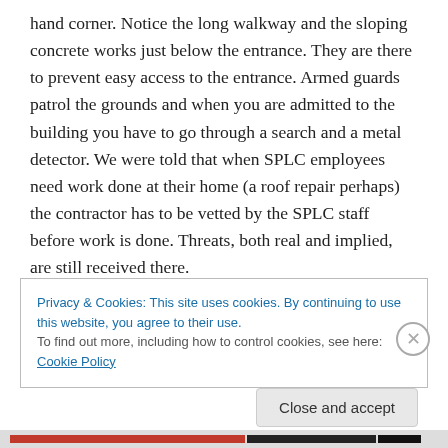hand corner. Notice the long walkway and the sloping concrete works just below the entrance. They are there to prevent easy access to the entrance. Armed guards patrol the grounds and when you are admitted to the building you have to go through a search and a metal detector. We were told that when SPLC employees need work done at their home (a roof repair perhaps) the contractor has to be vetted by the SPLC staff before work is done. Threats, both real and implied, are still received there.

I wondered if the SPLC had a sense of humor in placing their headquarters in the heart of Dixie, but I was too
Privacy & Cookies: This site uses cookies. By continuing to use this website, you agree to their use.
To find out more, including how to control cookies, see here: Cookie Policy
Close and accept